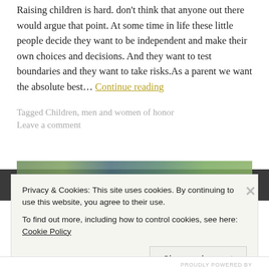Raising children is hard. don't think that anyone out there would argue that point. At some time in life these little people decide they want to be independent and make their own choices and decisions. And they want to test boundaries and they want to take risks.As a parent we want the absolute best… Continue reading
Tagged Children, men and women of honor
Leave a comment
[Figure (photo): Partial image strip visible at top of cookie banner area, showing green and teal foliage tones]
Privacy & Cookies: This site uses cookies. By continuing to use this website, you agree to their use.
To find out more, including how to control cookies, see here: Cookie Policy
Close and accept